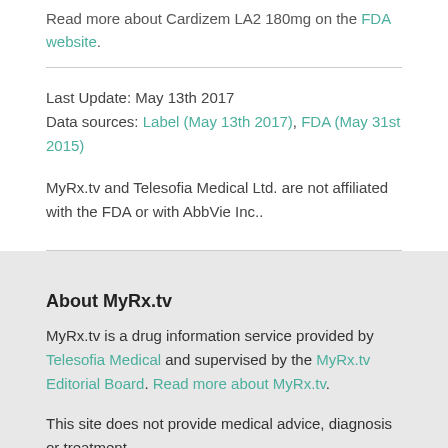Read more about Cardizem LA2 180mg on the FDA website.
Last Update: May 13th 2017
Data sources: Label (May 13th 2017), FDA (May 31st 2015)
MyRx.tv and Telesofia Medical Ltd. are not affiliated with the FDA or with AbbVie Inc..
About MyRx.tv
MyRx.tv is a drug information service provided by Telesofia Medical and supervised by the MyRx.tv Editorial Board. Read more about MyRx.tv.
This site does not provide medical advice, diagnosis or treatment.
The information provided on MyRx.tv is designed to complement, not replace, the relationship between a patient and his/her own physician.